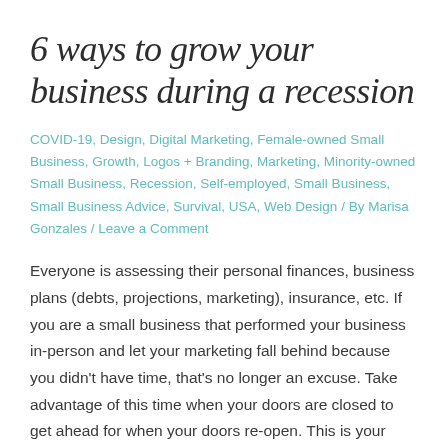6 ways to grow your business during a recession
COVID-19, Design, Digital Marketing, Female-owned Small Business, Growth, Logos + Branding, Marketing, Minority-owned Small Business, Recession, Self-employed, Small Business, Small Business Advice, Survival, USA, Web Design / By Marisa Gonzales / Leave a Comment
Everyone is assessing their personal finances, business plans (debts, projections, marketing), insurance, etc. If you are a small business that performed your business in-person and let your marketing fall behind because you didn't have time, that's no longer an excuse. Take advantage of this time when your doors are closed to get ahead for when your doors re-open. This is your time to...